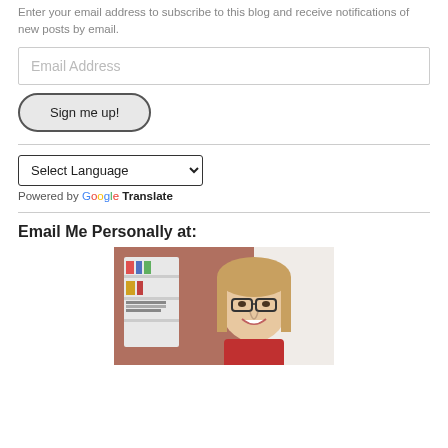Enter your email address to subscribe to this blog and receive notifications of new posts by email.
Email Address
Sign me up!
Select Language
Powered by Google Translate
Email Me Personally at:
[Figure (photo): Photo of a smiling woman with glasses and blonde hair, sitting in front of a desk with shelves and papers in a home office or classroom setting.]